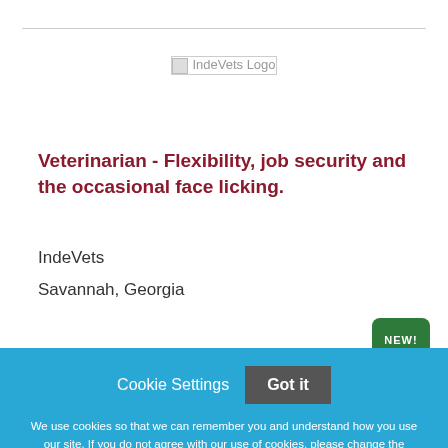[Figure (logo): IndeVets Logo placeholder image]
Veterinarian - Flexibility, job security and the occasional face licking.
IndeVets
Savannah, Georgia
[Figure (other): NEW! badge in green]
Cookie Settings
Got it
We use cookies so that we can remember you and understand how you use our site. If you do not agree with our use of cookies, please change the current settings found in our Cookie Policy. Otherwise, you agree to the use of the cookies as they are currently set.